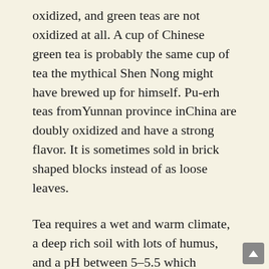oxidized, and green teas are not oxidized at all. A cup of Chinese green tea is probably the same cup of tea the mythical Shen Nong might have brewed up for himself. Pu-erh teas fromYunnan province inChina are doubly oxidized and have a strong flavor. It is sometimes sold in brick shaped blocks instead of as loose leaves.
Tea requires a wet and warm climate, a deep rich soil with lots of humus, and a pH between 5–5.5 which explains why it is grown in Myanmar, Malaysia, Sri Lanka, Indonesia, Iran, Turkey, the Philippines and parts of Africa, and Latin America as well as India and China. Another element that is needed is cheap labor to harvest the 'tiny little tea laves' by hand.
We visited our daughter Betsy in Kenya where she was...